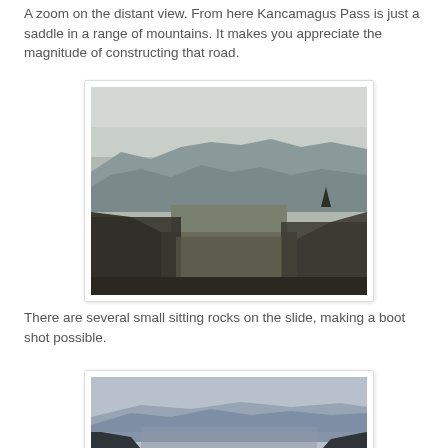A zoom on the distant view. From here Kancamagus Pass is just a saddle in a range of mountains. It makes you appreciate the magnitude of constructing that road.
[Figure (photo): Aerial view of a wide mountain valley with bare trees in the foreground and multiple ridgelines receding into the misty distance under an overcast sky. Kancamagus Pass area, New Hampshire.]
There are several small sitting rocks on the slide, making a boot shot possible.
[Figure (photo): Misty mountain landscape with blue-grey ridgelines receding into the distance, shot from an elevated rocky viewpoint. Partially visible, cropped at the bottom of the page.]